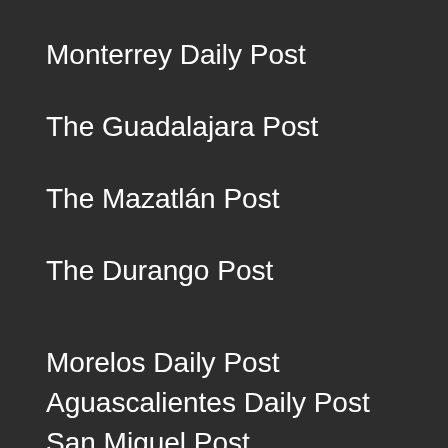Monterrey Daily Post
The Guadalajara Post
The Mazatlán Post
The Durango Post
Morelos Daily Post
Aguascalientes Daily Post
San Miguel Post